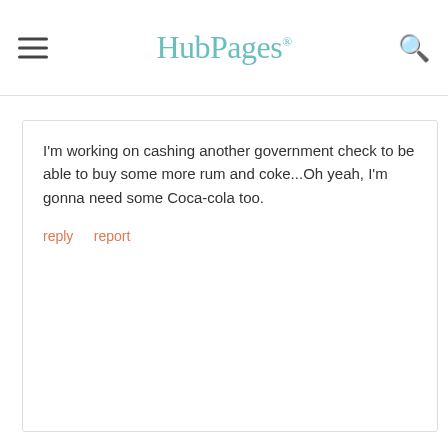HubPages
I'm working on cashing another government check to be able to buy some more rum and coke...Oh yeah, I'm gonna need some Coca-cola too.
reply   report
tantrum posted 12 years ago in reply to this
[Figure (other): Laughing emoji face]
reply   report
myownworld posted 12 years ago in reply to this